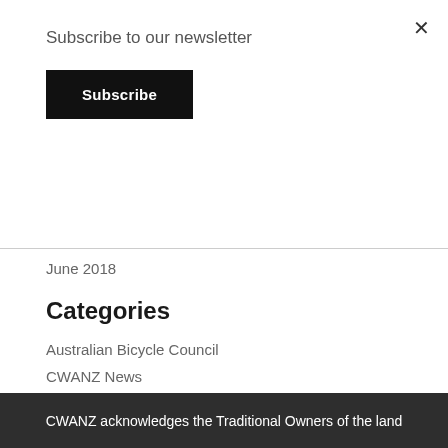×
Subscribe to our newsletter
Subscribe
June 2018
Categories
Australian Bicycle Council
CWANZ News
Uncategorised
Webinars
CWANZ acknowledges the Traditional Owners of the land